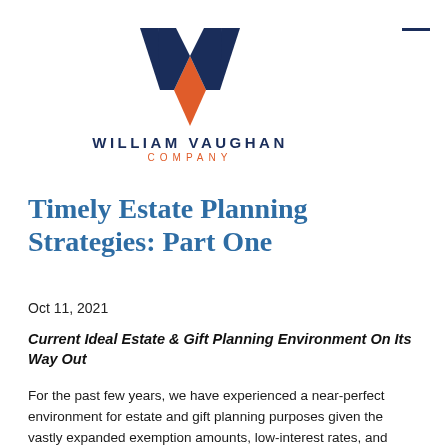[Figure (logo): William Vaughan Company logo — stylized W in navy and orange above the company name]
Timely Estate Planning Strategies: Part One
Oct 11, 2021
Current Ideal Estate & Gift Planning Environment On Its Way Out
For the past few years, we have experienced a near-perfect environment for estate and gift planning purposes given the vastly expanded exemption amounts, low-interest rates, and retention of step-up in basis at death.